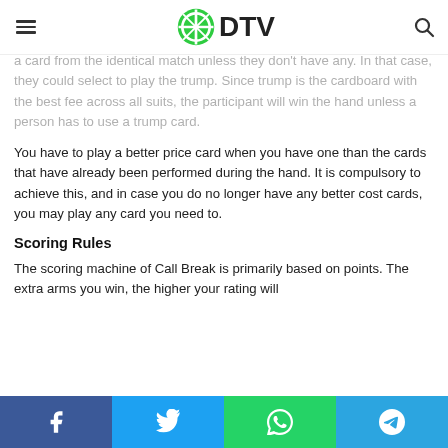DTV
a card from the identical match unless they don't have any. In that case, they could select to play the trump. Since trump is the cardboard with the best fee across all suits, the participant will win the hand unless a person has to use a trump card.
You have to play a better price card when you have one than the cards that have already been performed during the hand. It is compulsory to achieve this, and in case you do no longer have any better cost cards, you may play any card you need to.
Scoring Rules
The scoring machine of Call Break is primarily based on points. The extra arms you win, the higher your rating will
Facebook Twitter WhatsApp Telegram